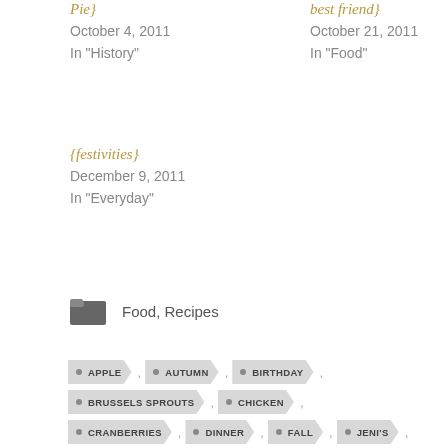Pie}
October 4, 2011
In "History"
best friend}
October 21, 2011
In "Food"
{festivities}
December 9, 2011
In "Everyday"
Food, Recipes
APPLE
AUTUMN
BIRTHDAY
BRUSSELS SPROUTS
CHICKEN
CRANBERRIES
DINNER
FALL
JENI'S
MAPLE
SAUSAGE
SKILLET
SWEET POTATO